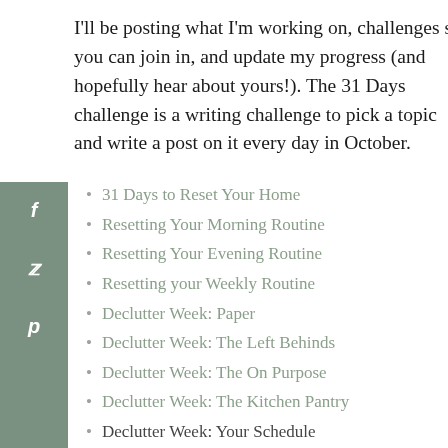I'll be posting what I'm working on, challenges so you can join in, and update my progress (and hopefully hear about yours!). The 31 Days challenge is a writing challenge to pick a topic and write a post on it every day in October.
31 Days to Reset Your Home
Resetting Your Morning Routine
Resetting Your Evening Routine
Resetting your Weekly Routine
Declutter Week: Paper
Declutter Week: The Left Behinds
Declutter Week: The On Purpose
Declutter Week: The Kitchen Pantry
Declutter Week: Your Schedule